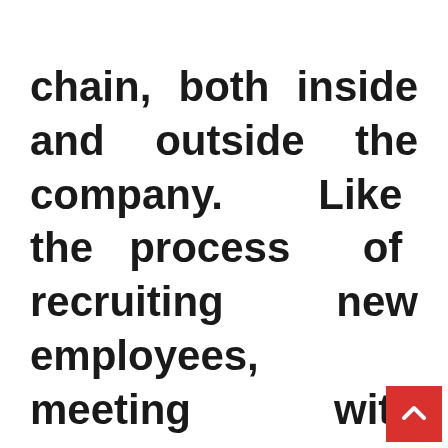chain, both inside and outside the company. Like the process of recruiting new employees, meeting with customers, ordering supplies and directing the government regarding various regulations. Because digital business can be organized in different wa… (continues)